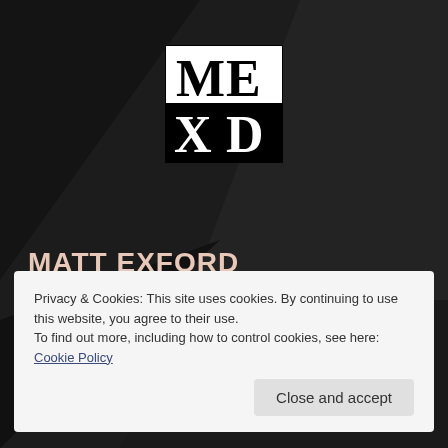[Figure (logo): Matt Exford photographer logo — stylized block letters ME/XD in black and white square logo]
MATT EXFORD
Photographer
Privacy & Cookies: This site uses cookies. By continuing to use this website, you agree to their use.
To find out more, including how to control cookies, see here: Cookie Policy
Close and accept